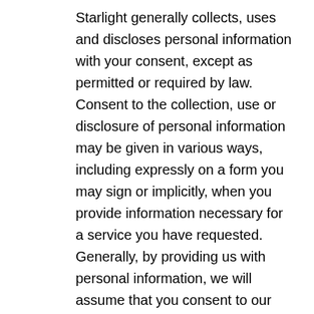Starlight generally collects, uses and discloses personal information with your consent, except as permitted or required by law. Consent to the collection, use or disclosure of personal information may be given in various ways, including expressly on a form you may sign or implicitly, when you provide information necessary for a service you have requested. Generally, by providing us with personal information, we will assume that you consent to our collection, use and disclosure of such information for the purposes described in this Privacy Policy or otherwise at the time of collection.